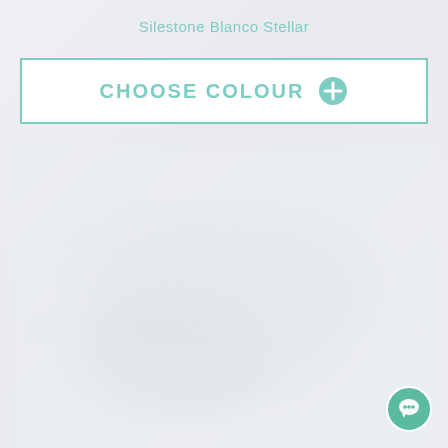Silestone Blanco Stellar
CHOOSE COLOUR +
[Figure (screenshot): A light grey/white textured background resembling a stone or marble surface, filling the lower portion of the page, with a faint watermark-like pattern.]
[Figure (other): A teal/green circular chat bubble icon located in the bottom-right corner of the page.]